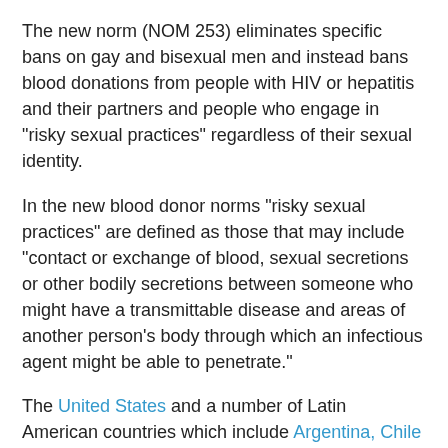The new norm (NOM 253) eliminates specific bans on gay and bisexual men and instead bans blood donations from people with HIV or hepatitis and their partners and people who engage in "risky sexual practices" regardless of their sexual identity.
In the new blood donor norms "risky sexual practices" are defined as those that may include "contact or exchange of blood, sexual secretions or other bodily secretions between someone who might have a transmittable disease and areas of another person's body through which an infectious agent might be able to penetrate."
The United States and a number of Latin American countries which include Argentina, Chile and Colombia have been mulling lifting similar longstanding bans that have been in effect since the HIV/AIDS crisis broke through decades ago.
If this report is correct, Mexico might be the first country in the American continent to lift such a ban.
UPDATE 1 (Dec. 26, 2012): The National Council to